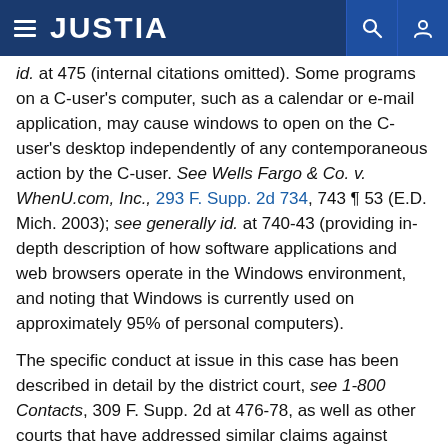JUSTIA
id. at 475 (internal citations omitted). Some programs on a C-user's computer, such as a calendar or e-mail application, may cause windows to open on the C-user's desktop independently of any contemporaneous action by the C-user. See Wells Fargo & Co. v. WhenU.com, Inc., 293 F. Supp. 2d 734, 743 ¶ 53 (E.D. Mich. 2003); see generally id. at 740-43 (providing in-depth description of how software applications and web browsers operate in the Windows environment, and noting that Windows is currently used on approximately 95% of personal computers).
The specific conduct at issue in this case has been described in detail by the district court, see 1-800 Contacts, 309 F. Supp. 2d at 476-78, as well as other courts that have addressed similar claims against WhenU, see Wells Fargo, 293 F. Supp. 2d at 738-40, 743-46; U-Haul Int'l, Inc. v. WhenU.com, Inc., 279 F. Supp. 2d 723